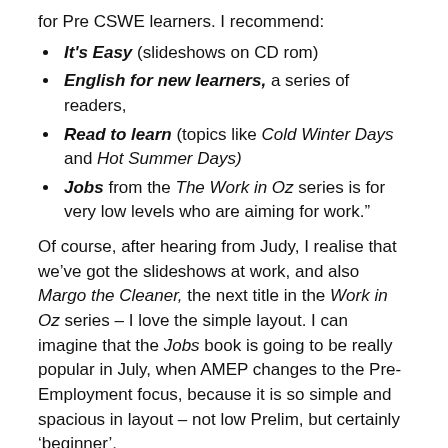for Pre CSWE learners. I recommend:
It's Easy (slideshows on CD rom)
English for new learners, a series of readers,
Read to learn (topics like Cold Winter Days and Hot Summer Days)
Jobs from the The Work in Oz series is for very low levels who are aiming for work."
Of course, after hearing from Judy, I realise that we've got the slideshows at work, and also Margo the Cleaner, the next title in the Work in Oz series – I love the simple layout. I can imagine that the Jobs book is going to be really popular in July, when AMEP changes to the Pre-Employment focus, because it is so simple and spacious in layout – not low Prelim, but certainly ‘beginner’.
Next,  from Manjit (who also provided a whole list of suggestions for my coming ‘Pre-Employment for